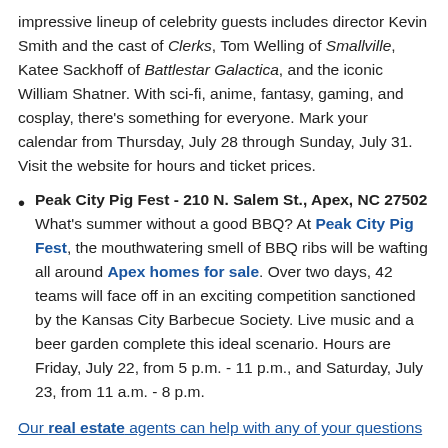impressive lineup of celebrity guests includes director Kevin Smith and the cast of Clerks, Tom Welling of Smallville, Katee Sackhoff of Battlestar Galactica, and the iconic William Shatner. With sci-fi, anime, fantasy, gaming, and cosplay, there's something for everyone. Mark your calendar from Thursday, July 28 through Sunday, July 31. Visit the website for hours and ticket prices.
Peak City Pig Fest - 210 N. Salem St., Apex, NC 27502 What's summer without a good BBQ? At Peak City Pig Fest, the mouthwatering smell of BBQ ribs will be wafting all around Apex homes for sale. Over two days, 42 teams will face off in an exciting competition sanctioned by the Kansas City Barbecue Society. Live music and a beer garden complete this ideal scenario. Hours are Friday, July 22, from 5 p.m. - 11 p.m., and Saturday, July 23, from 11 a.m. - 8 p.m.
Our real estate agents can help with any of your questions